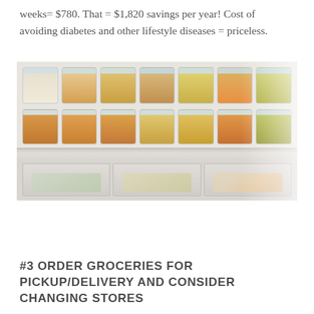weeks= $780. That = $1,820 savings per year! Cost of avoiding diabetes and other lifestyle diseases = priceless.
[Figure (photo): Open refrigerator showing multiple glass food storage containers with lids on the top shelf, arranged in two rows, and clear drawers below containing various stored foods.]
#3 ORDER GROCERIES FOR PICKUP/DELIVERY AND CONSIDER CHANGING STORES